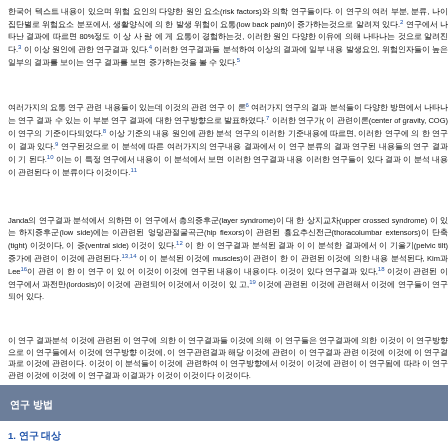Korean text paragraph with risk factors, back pain references 2,3,4,5 discussing spinal risk factors and epidemiology.
Korean text paragraph with references 6,7,8,9,10,11 discussing center of gravity (COG) and related concepts.
Janda Korean text paragraph discussing layer syndrome, upper crossed syndrome, low side, hip flexors, thoracolumbar extensors, tight, ventral side, pelvic tilt references 12,13,14,16,18,19 discussing muscles and lordosis.
Korean text paragraph discussing research background and methodology conclusions.
연구 방법
1. 연구 대상